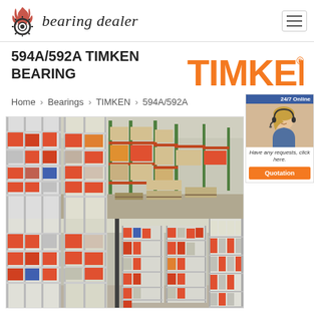bearing dealer
594A/592A TIMKEN BEARING
[Figure (logo): TIMKEN brand logo in orange bold text]
Home › Bearings › TIMKEN › 594A/592A
[Figure (photo): Warehouse interior with shelves stocked with bearing boxes and industrial storage racks in two views]
[Figure (photo): 24/7 Online customer service widget with woman wearing headset and Quotation button]